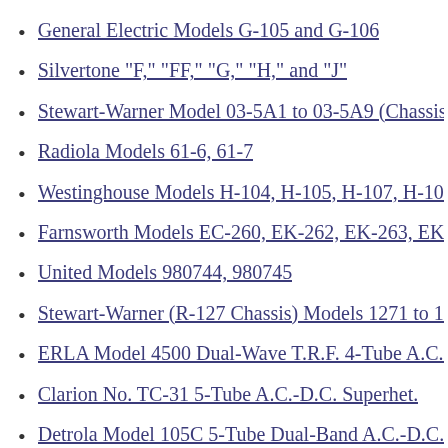General Electric Models G-105 and G-106
Silvertone "F," "FF," "G," "H," and "J"
Stewart-Warner Model 03-5A1 to 03-5A9 (Chassis 03-5A…
Radiola Models 61-6, 61-7
Westinghouse Models H-104, H-105, H-107, H-108
Farnsworth Models EC-260, EK-262, EK-263, EK-264, E…
United Models 980744, 980745
Stewart-Warner (R-127 Chassis) Models 1271 to 1279 All-…
ERLA Model 4500 Dual-Wave T.R.F. 4-Tube A.C. Receiv…
Clarion No. TC-31 5-Tube A.C.-D.C. Superhet.
Detrola Model 105C 5-Tube Dual-Band A.C.-D.C.